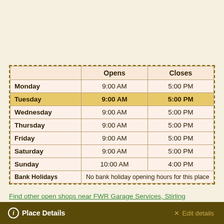|  | Opens | Closes |
| --- | --- | --- |
| Monday | 9:00 AM | 5:00 PM |
| Tuesday | 9:00 AM | 5:00 PM |
| Wednesday | 9:00 AM | 5:00 PM |
| Thursday | 9:00 AM | 5:00 PM |
| Friday | 9:00 AM | 5:00 PM |
| Saturday | 9:00 AM | 5:00 PM |
| Sunday | 10:00 AM | 4:00 PM |
| Bank Holidays | No bank holiday opening hours for this place |  |
Find other open shops near FWR Garage Services, Stirling
Tuesday 23rd August 2022 4:13 pm
Place Details   Edit details